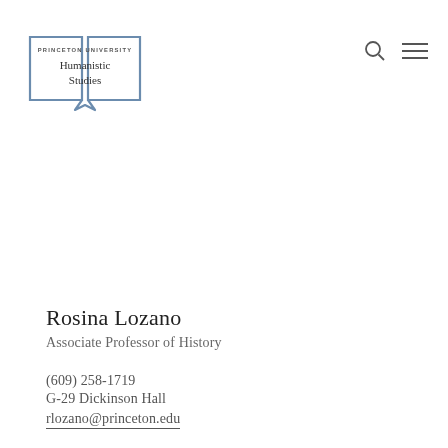[Figure (logo): Princeton University Humanistic Studies logo — open book shape in steel blue with text 'PRINCETON UNIVERSITY' in small caps and 'Humanistic Studies' in serif below]
Rosina Lozano
Associate Professor of History
(609) 258-1719
G-29 Dickinson Hall
rlozano@princeton.edu